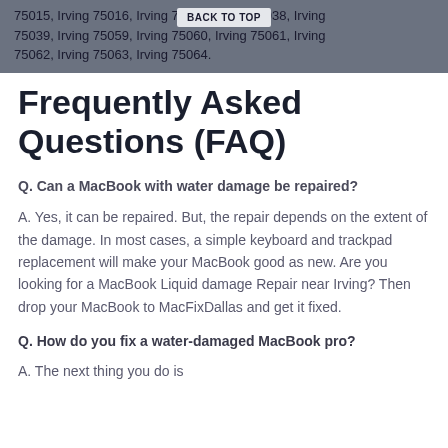75015, Irving 75016, Irving 75017, Irving 75038, Irving 75039, Irving 75059, Irving 75060, Irving 75061, Irving 75062, Irving 75063, Irving 75064.
Frequently Asked Questions (FAQ)
Q. Can a MacBook with water damage be repaired?
A. Yes, it can be repaired. But, the repair depends on the extent of the damage. In most cases, a simple keyboard and trackpad replacement will make your MacBook good as new. Are you looking for a MacBook Liquid damage Repair near Irving? Then drop your MacBook to MacFixDallas and get it fixed.
Q. How do you fix a water-damaged MacBook pro?
A. The next thing you do is...